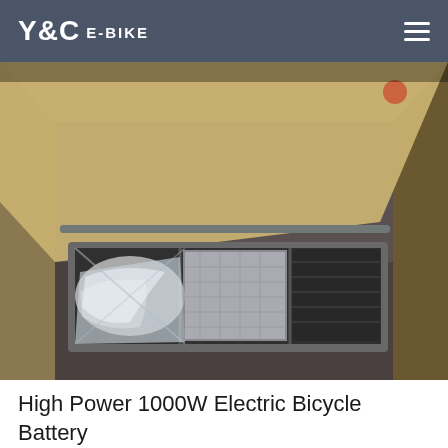Y&C E-BIKE
[Figure (photo): Open cardboard box containing a packaged product wrapped in plastic and mesh material, viewed from above at an angle. The product appears to be a large item secured with plastic wrapping inside a box frame.]
High Power 1000W Electric Bicycle Battery 48V 10Ah lithium